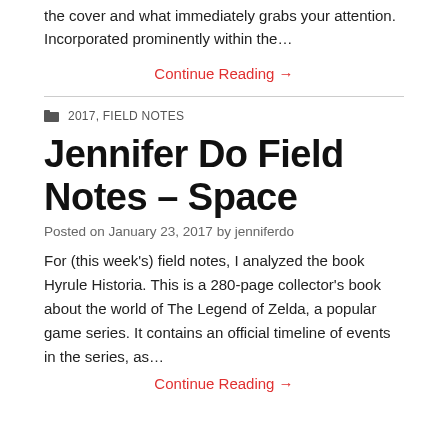the cover and what immediately grabs your attention. Incorporated prominently within the…
Continue Reading →
2017, FIELD NOTES
Jennifer Do Field Notes – Space
Posted on January 23, 2017 by jenniferdo
For (this week's) field notes, I analyzed the book Hyrule Historia. This is a 280-page collector's book about the world of The Legend of Zelda, a popular game series. It contains an official timeline of events in the series, as…
Continue Reading →